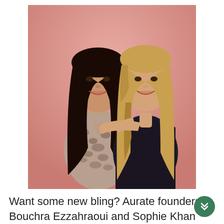[Figure (photo): Two women posing together in front of a soft pink/salmon background. The woman on the left has long dark hair and is wearing a leopard-print top. The woman on the right has long blonde hair and is wearing an off-shoulder dark top. They are smiling.]
Want some new bling? Aurate founders Bouchra Ezzahraoui and Sophie Khan have you covered with a clear conscience.